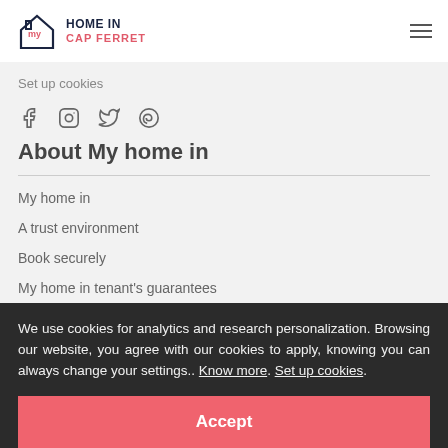MY HOME IN CAP FERRET
Set up cookies
[Figure (other): Social media icons: Facebook, Instagram, Twitter, Pinterest]
About My home in
My home in
A trust environment
Book securely
My home in tenant's guarantees
We use cookies for analytics and research personalization. Browsing our website, you agree with our cookies to apply, knowing you can always change your settings.. Know more. Set up cookies.
Accept